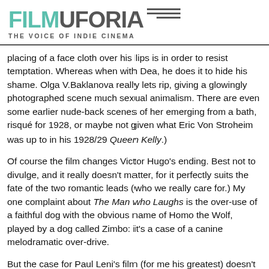FILMUFORIA — THE VOICE OF INDIE CINEMA
placing of a face cloth over his lips is in order to resist temptation. Whereas when with Dea, he does it to hide his shame. Olga V.Baklanova really lets rip, giving a glowingly photographed scene much sexual animalism. There are even some earlier nude-back scenes of her emerging from a bath, risqué for 1928, or maybe not given what Eric Von Stroheim was up to in his 1928/29 Queen Kelly.)
Of course the film changes Victor Hugo's ending. Best not to divulge, and it really doesn't matter, for it perfectly suits the fate of the two romantic leads (who we really care for.) My one complaint about The Man who Laughs is the over-use of a faithful dog with the obvious name of Homo the Wolf, played by a dog called Zimbo: it's a case of a canine melodramatic over-drive.
But the case for Paul Leni's film (for me his greatest) doesn't need to be argued, just experienced. And in this beautiful